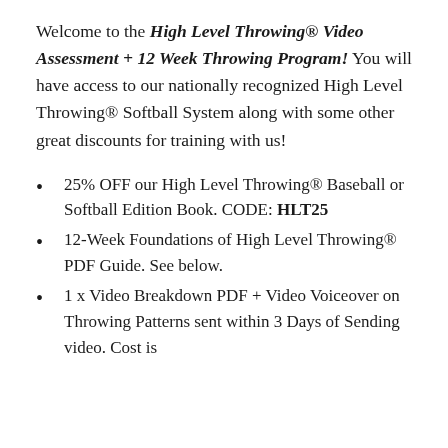Welcome to the High Level Throwing® Video Assessment + 12 Week Throwing Program! You will have access to our nationally recognized High Level Throwing® Softball System along with some other great discounts for training with us!
25% OFF our High Level Throwing® Baseball or Softball Edition Book. CODE: HLT25
12-Week Foundations of High Level Throwing® PDF Guide. See below.
1 x Video Breakdown PDF + Video Voiceover on Throwing Patterns sent within 3 Days of Sending video. Cost is